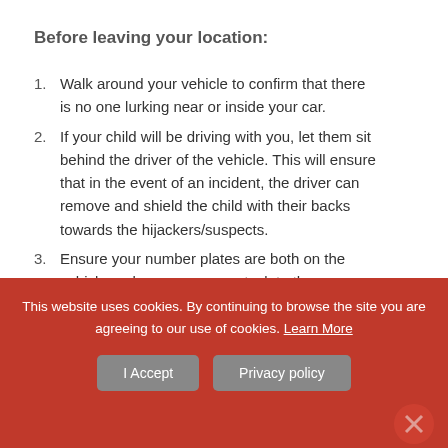Before leaving your location:
Walk around your vehicle to confirm that there is no one lurking near or inside your car.
If your child will be driving with you, let them sit behind the driver of the vehicle. This will ensure that in the event of an incident, the driver can remove and shield the child with their backs towards the hijackers/suspects.
Ensure your number plates are both on the vehicle and no papers are stuck to the rear or front windows of your vehicle. This is a trend used by suspects to lure you into stopping, while your vehicle is running, to either retrieve the number plate or remove the papers.
Place all your valuables, especially the handbag, in the boot of your vehicle. Smash and grab are extremely common.
This website uses cookies. By continuing to browse the site you are agreeing to our use of cookies. Learn More